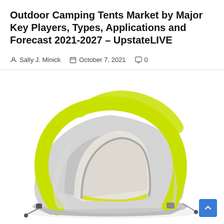Outdoor Camping Tents Market by Major Key Players, Types, Applications and Forecast 2021-2027 – UpstateLIVE
Sally J. Minick   October 7, 2021   0
[Figure (photo): Photo of a modern inflatable camping tent with bright yellow-green tubular arch frame and gray fabric body, open front entrance, shown on white background.]